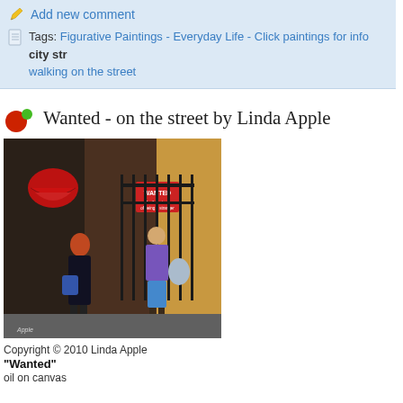Add new comment
Tags: Figurative Paintings - Everyday Life - Click paintings for info  city str... walking on the street
Wanted - on the street by Linda Apple
[Figure (photo): Painting showing two women on a city street. One with red hair in black outfit with blue bag, another in purple top and blue shorts looking at phone. Rolling Stones logo sticker on wall, iron fence gate, 'Wanted' sign visible. Signed 'Apple'.]
Copyright © 2010 Linda Apple
"Wanted"
oil on canvas